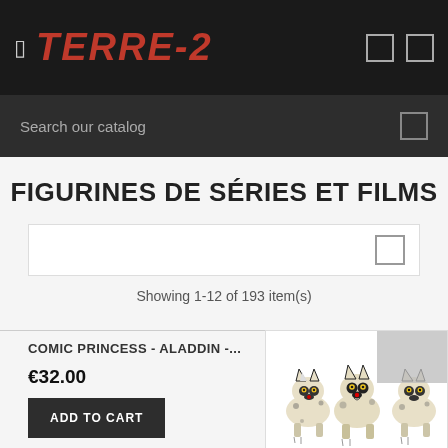TERRE-2
Search our catalog
FIGURINES DE SÉRIES ET FILMS
Showing 1-12 of 193 item(s)
COMIC PRINCESS - ALADDIN -...
€32.00
ADD TO CART
[Figure (photo): Three hyena figurines from animated movie, cream/white colored with black markings and yellow eyes]